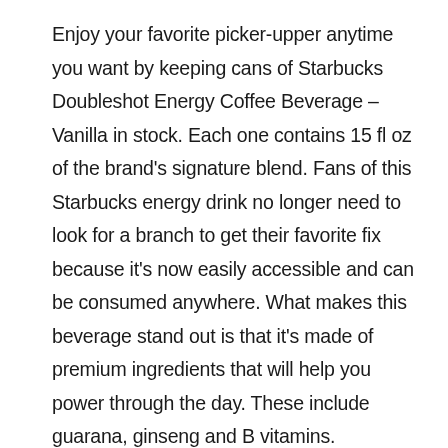Enjoy your favorite picker-upper anytime you want by keeping cans of Starbucks Doubleshot Energy Coffee Beverage – Vanilla in stock. Each one contains 15 fl oz of the brand's signature blend. Fans of this Starbucks energy drink no longer need to look for a branch to get their favorite fix because it's now easily accessible and can be consumed anywhere. What makes this beverage stand out is that it's made of premium ingredients that will help you power through the day. These include guarana, ginseng and B vitamins.